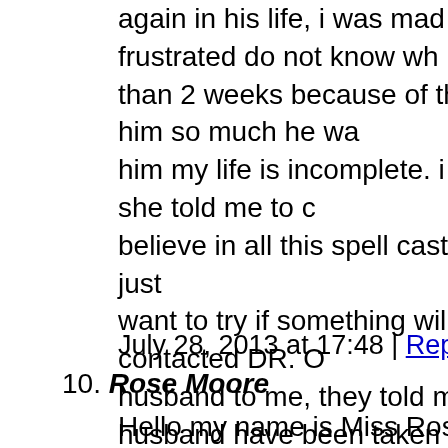again in his life, i was mad and also frustrated do not know wh than 2 weeks because of the divorce. i love him so much he wa him my life is incomplete. i told my sister and she told me to c believe in all this spell casting of a thing. i just want to try if something will come out of it. I contacted DR. O husband to me, they told me that my husband have been taken cast a spell on him that is why he hates me and also want us to they have to cast a spell on him that will make him return to m spell and after 3 days my husband called me and he told me that i should forgive him, he settled to apologiz still love me that he did not know what happen to him that he l Dr OGUN shrine casted on him that made him comeback to m now happy again today. thank you DR. OGUN for what you ha been nothing today if not for your great spell. i want you my friends who are passing through this kind of love prob husband, wife , or ex boyfriend and girlfriend to contact proph will see that your problem will be solved
July 28, 2013 at 17:48 | Report abuse | Reply
10. Rose Moore
Hello my name is Miss Rose Moore, I'm from Brazil. I want t spell caster that is genuine and real. I never really believed in a was losing Jackson, I needed help and somewhere to turn badl okosunspelltemple@gmail.com. and i ordered a LOVE SPEL